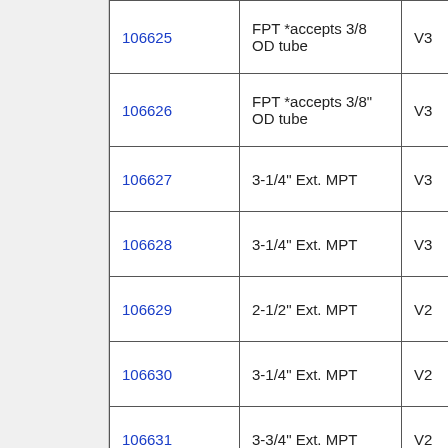| Part Number | Description | Type |
| --- | --- | --- |
| 106625 | FPT *accepts 3/8 OD tube | V3 |
| 106626 | FPT *accepts 3/8" OD tube | V3 |
| 106627 | 3-1/4" Ext. MPT | V3 |
| 106628 | 3-1/4" Ext. MPT | V3 |
| 106629 | 2-1/2" Ext. MPT | V2 |
| 106630 | 3-1/4" Ext. MPT | V2 |
| 106631 | 3-3/4" Ext. MPT | V2 |
| 106632 | 5-1/4" Ext. MPT | V2 |
| 106636 | 2-1/2" Ext. MPT | V2 |
| 106639 | 5-1/4" Ext. MPT | V2 |